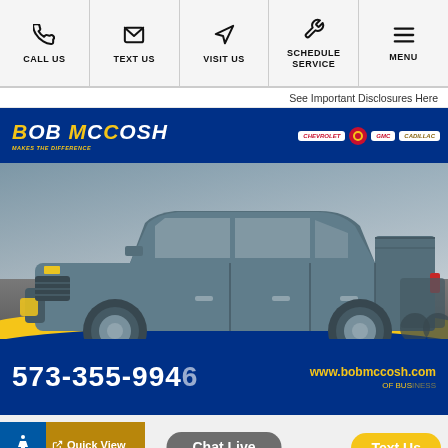CALL US | TEXT US | VISIT US | SCHEDULE SERVICE | MENU
See Important Disclosures Here
[Figure (photo): Dealership mobile website screenshot showing a gray Chevrolet Silverado pickup truck at Bob McCosh Chevrolet Buick GMC Cadillac dealership with phone number 573-355-9946 and website www.bobmccosh.com]
Chat Live
Text Us
Quick View